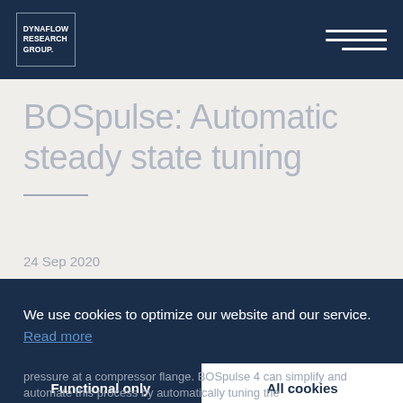DYNAFLOW RESEARCH GROUP.
BOSpulse: Automatic steady state tuning
24 Sep 2020
We use cookies to optimize our website and our service. Read more
Functional only
All cookies
pressure at a compressor flange. BOSpulse 4 can simplify and automate this process by automatically tuning the